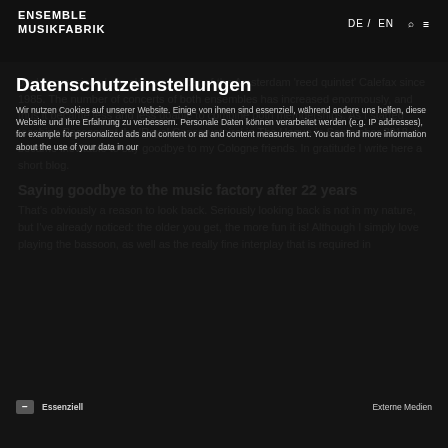ENSEMBLE MUSIKFABRIK | DE / EN
Datenschutzeinstellungen
Wir nutzen Cookies auf unserer Website. Einige von ihnen sind essenziell, während andere uns helfen, diese Website und Ihre Erfahrung zu verbessern. Personale Daten können verarbeitet werden (z.B. IP-Adressen), für Beispiel für personalisierte Werbung und Inhalte oder Anzeigen- und Inhaltsmessung. Weitere Informationen über die Verwendung Ihrer Daten finden Sie in unserer
double me, since I am also a member of the Amsterdam 'reed quintet' Calefax since 1985. The number of concerts of both ensembles has increased enormously, and thus it became less and less doable to combine both memberships. As I started teaching Bassoon at the 'Royal Conservatoire' in The Hague in September 2018, it became inevitable to say goodbye to my Cologne friends. In gratitude I write here a short blog.
Saying goodbye to the music factory after 22 years
That's obviously a reason to look back. Seriously looking back is not in my nature, but I've already noticed: the older you get, the more fun it is! Although I simply love playing the bassoon, as well as the really fine interplay that is required in